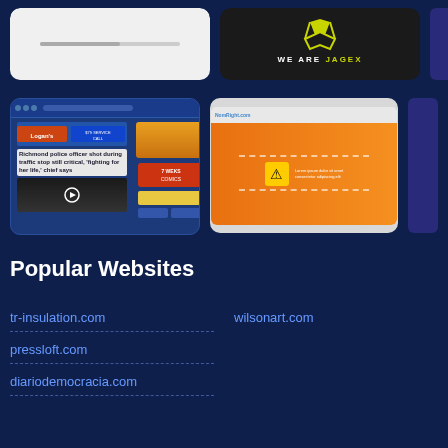[Figure (screenshot): Two website screenshot thumbnails in top row: a white/gray card and a black Jagex logo card, with partial third card]
[Figure (screenshot): Two website screenshot thumbnails in second row: a news website (Richmond police officer shot story) and an orange NoRight.com page, with partial third card]
Popular Websites
tr-insulation.com
wilsonart.com
pressloft.com
diariodemocracia.com